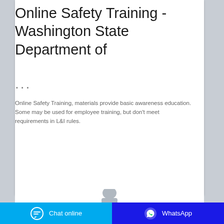Online Safety Training - Washington State Department of
...
Online Safety Training, materials provide basic awareness education. Some may be used for employee training, but don't meet requirements in L&I rules.
[Figure (screenshot): Green 'Contact the manufacturer' button and green 'WhatsApp' button]
[Figure (photo): Partial image of a person or object at bottom of white card area]
[Figure (screenshot): Blue bottom bar with 'Chat online' on the left and dark blue 'WhatsApp' on the right, each with icons]